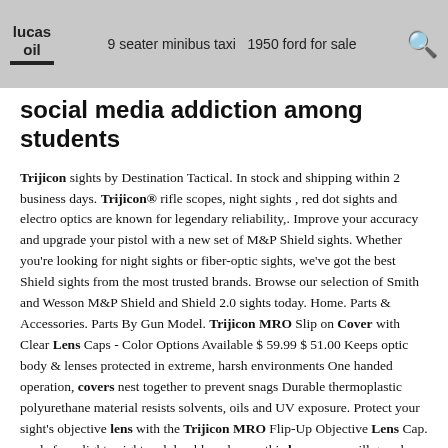lucas oil   9 seater minibus taxi   1950 ford for sale
social media addiction among students
Trijicon sights by Destination Tactical. In stock and shipping within 2 business days. Trijicon® rifle scopes, night sights , red dot sights and electro optics are known for legendary reliability,. Improve your accuracy and upgrade your pistol with a new set of M&P Shield sights. Whether you're looking for night sights or fiber-optic sights, we've got the best Shield sights from the most trusted brands. Browse our selection of Smith and Wesson M&P Shield and Shield 2.0 sights today. Home. Parts & Accessories. Parts By Gun Model. Trijicon MRO Slip on Cover with Clear Lens Caps - Color Options Available $ 59.99 $ 51.00 Keeps optic body & lenses protected in extreme, harsh environments One handed operation, covers nest together to prevent snags Durable thermoplastic polyurethane material resists solvents, oils and UV exposure. Protect your sight's objective lens with the Trijicon MRO Flip-Up Objective Lens Cap. made from lightweight and durable polymer, this lens cover will guard your optic's lens from dust, scratches, and abrasions when not in use.The design offers an easy attachment to your red dot sight by slipping the frame onto the objective lens's bezel, and an instant